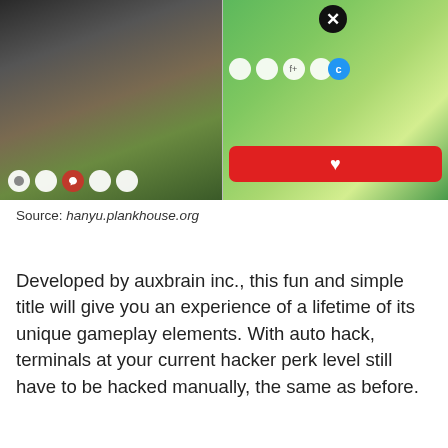[Figure (screenshot): Two side-by-side game screenshots: left shows a dark circular game scene with social sharing icons at bottom; right shows an isometric town/farm game with a close button, social icons, and a red action button.]
Source: hanyu.plankhouse.org
Developed by auxbrain inc., this fun and simple title will give you an experience of a lifetime of its unique gameplay elements. With auto hack, terminals at your current hacker perk level still have to be hacked manually, the same as before.
[Figure (screenshot): Broken image placeholder labeled 'Egg Inc Hacked Pc' with inline text 'Source:']
hanyu.plankhouse.org
Access information, disable or enable turrets or spotlights, alarm systems, and various other defenses. Egg inc hack tool is an online golden eggs generator that can enable you to get free golden eggs